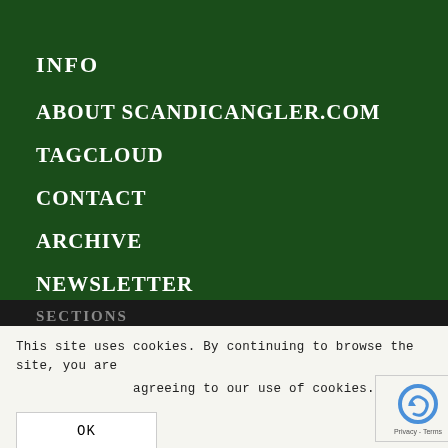INFO
ABOUT SCANDICANGLER.COM
TAGCLOUD
CONTACT
ARCHIVE
NEWSLETTER
SECTIONS
SALTWATER
FRESHWATER
TROPICAL
TRAVEL
This site uses cookies. By continuing to browse the site, you are agreeing to our use of cookies.
OK